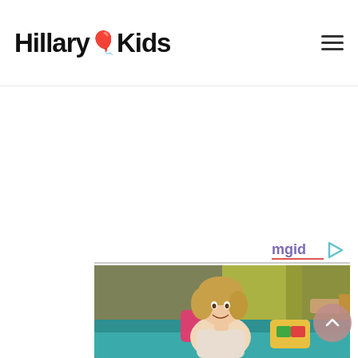Hillary 🎈 Kids
[Figure (screenshot): White advertisement/content area with mgid logo watermark in bottom right corner]
[Figure (photo): A woman with blonde hair sitting on a teal couch with pink and colorful pillows, looking surprised or alarmed, in what appears to be a TV sitcom scene (The Big Bang Theory). Yellow-green curtains in background.]